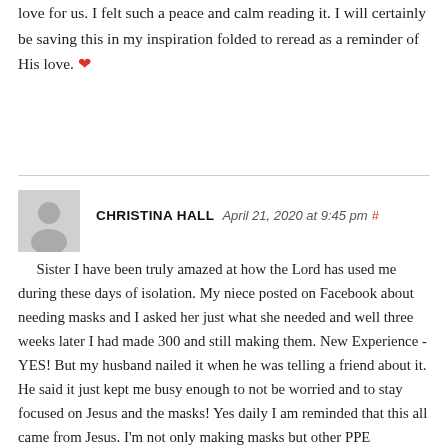love for us. I felt such a peace and calm reading it. I will certainly be saving this in my inspiration folded to reread as a reminder of His love. ❤
CHRISTINA HALL   April 21, 2020 at 9:45 pm #
Sister I have been truly amazed at how the Lord has used me during these days of isolation. My niece posted on Facebook about needing masks and I asked her just what she needed and well three weeks later I had made 300 and still making them. New Experience -YES! But my husband nailed it when he was telling a friend about it. He said it just kept me busy enough to not be worried and to stay focused on Jesus and the masks! Yes daily I am reminded that this all came from Jesus. I'm not only making masks but other PPE